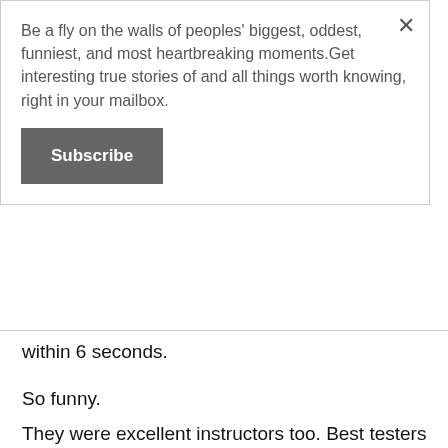Be a fly on the walls of peoples' biggest, oddest, funniest, and most heartbreaking moments.Get interesting true stories of and all things worth knowing, right in your mailbox.
Subscribe
within 6 seconds.
So funny.
They were excellent instructors too. Best testers I think I ever had.